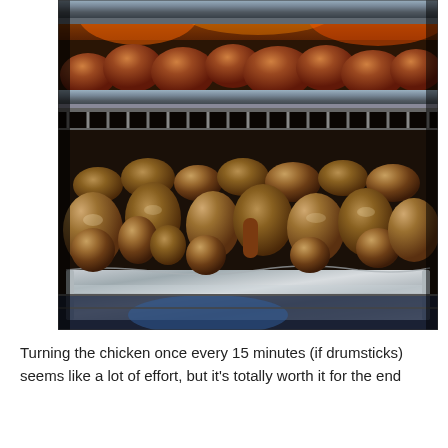[Figure (photo): Photograph of chicken drumsticks cooking in an aluminum foil pan inside a smoker or grill. The bottom section shows many drumsticks packed tightly in the foil pan, while the upper rack area shows more chicken pieces above a metal grill grate. The smoker has metal racks and the inside is dark.]
Turning the chicken once every 15 minutes (if drumsticks) seems like a lot of effort, but it's totally worth it for the end result of flavor...